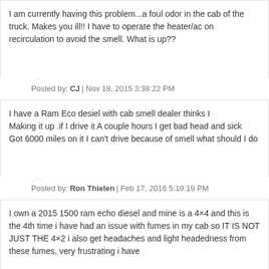I am currently having this problem...a foul odor in the cab of the truck. Makes you ill!! I have to operate the heater/ac on recirculation to avoid the smell. What is up??
Posted by: CJ | Nov 18, 2015 3:38:22 PM
I have a Ram Eco desiel with cab smell dealer thinks I Making it up .if I drive it A couple hours I get bad head and sick Got 6000 miles on it I can't drive because of smell what should I do
Posted by: Ron Thielen | Feb 17, 2016 5:19:19 PM
I own a 2015 1500 ram echo diesel and mine is a 4×4 and this is the 4th time i have had an issue with fumes in my cab so IT IS NOT JUST THE 4×2 i also get headaches and light headedness from these fumes, very frustrating i have always owned dodges but this is getting ridiculous!!!
Posted by: Sherry sanner | Dec 17, 2016 2:09:39 PM
I am seriously thinking of getting rid of my 2016 Ram EcoDiesel.I can't drive it